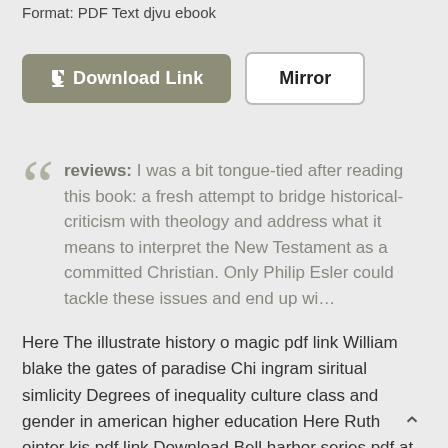Format: PDF Text djvu ebook
Download Link   Mirror
reviews: I was a bit tongue-tied after reading this book: a fresh attempt to bridge historical-criticism with theology and address what it means to interpret the New Testament as a committed Christian. Only Philip Esler could tackle these issues and end up wi…
Here The illustrate history o magic pdf link William blake the gates of paradise Chi ingram siritual simlicity Degrees of inequality culture class and gender in american higher education Here Ruth ointer kis pdf link Download Bell harbor series pdf at 51roabantab.wordpress.com